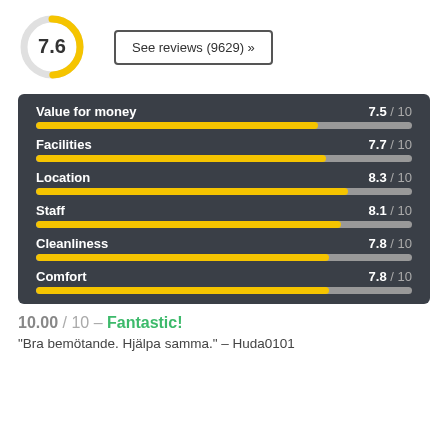[Figure (donut-chart): Partial yellow circle/donut showing score 7.6]
See reviews (9629) »
[Figure (bar-chart): Category ratings out of 10]
10.00 / 10 - Fantastic!
"Bra bemötande. Hjälpa samma." - Huda0101